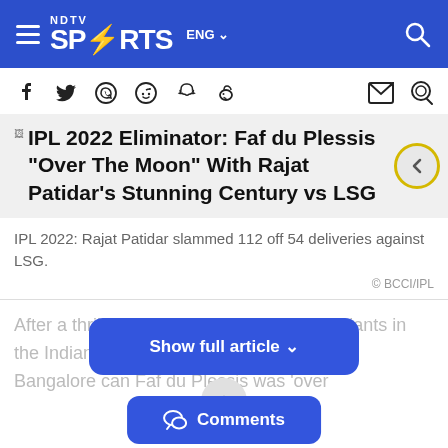NDTV Sports ENG
[Figure (screenshot): Social media share icons: Facebook, Twitter, WhatsApp, Reddit, Snapchat, koo bird; and mail/comment icons on right]
IPL 2022 Eliminator: Faf du Plessis "Over The Moon" With Rajat Patidar's Stunning Century vs LSG
IPL 2022: Rajat Patidar slammed 112 off 54 deliveries against LSG.
© BCCI/IPL
After a thrilling win over Lucknow Super Giants in the Indian Premier League Eliminator, Royal Challengers Bangalore captain Faf du Plessis was 'over
Show full article ∨
Comments